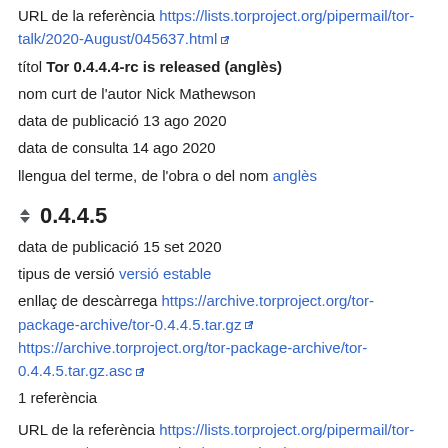URL de la referència https://lists.torproject.org/pipermail/tor-talk/2020-August/045637.html
títol Tor 0.4.4.4-rc is released (anglès)
nom curt de l'autor Nick Mathewson
data de publicació 13 ago 2020
data de consulta 14 ago 2020
llengua del terme, de l'obra o del nom anglès
0.4.4.5
data de publicació 15 set 2020
tipus de versió versió estable
enllaç de descàrrega https://archive.torproject.org/tor-package-archive/tor-0.4.4.5.tar.gz https://archive.torproject.org/tor-package-archive/tor-0.4.4.5.tar.gz.asc
1 referència
URL de la referència https://lists.torproject.org/pipermail/tor-announce/2020-September/000205.html
títol Tor 0.4.4.5 is released (anglès)
autor Nick Mathewson anglès
data de publicació 15 set 2020
data de consulta 16 set 2020